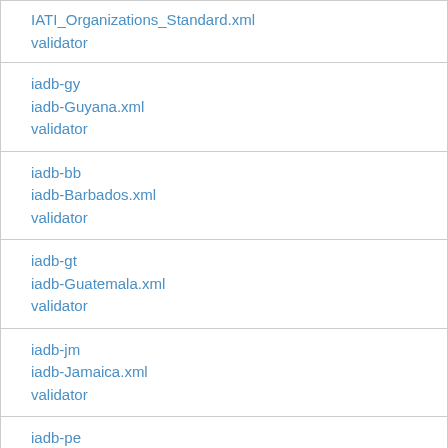IATI_Organizations_Standard.xml
validator
iadb-gy
iadb-Guyana.xml
validator
iadb-bb
iadb-Barbados.xml
validator
iadb-gt
iadb-Guatemala.xml
validator
iadb-jm
iadb-Jamaica.xml
validator
iadb-pe
iadb-Peru.xml
validator